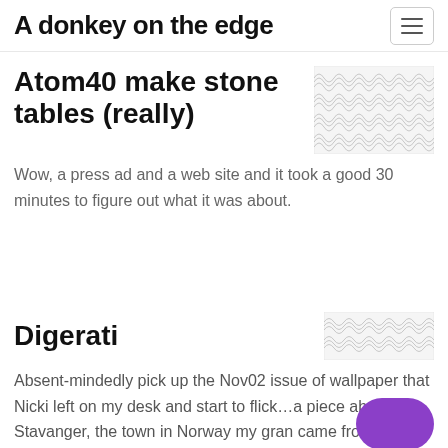A donkey on the edge
Atom40 make stone tables (really)
[Figure (illustration): Decorative wave/scallop pattern thumbnail image in grey outlines]
Wow, a press ad and a web site and it took a good 30 minutes to figure out what it was about.
Digerati
[Figure (illustration): Small decorative wave/scallop pattern thumbnail image in grey outlines]
Absent-mindedly pick up the Nov02 issue of wallpaper that Nicki left on my desk and start to flick…a piece about Stavanger, the town in Norway my gran came from, oh look, an interesting looking ad…it says to
[Figure (other): Purple rounded rectangle chat button in bottom right corner]